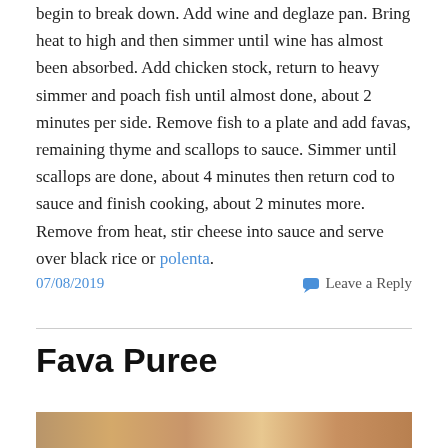begin to break down. Add wine and deglaze pan. Bring heat to high and then simmer until wine has almost been absorbed. Add chicken stock, return to heavy simmer and poach fish until almost done, about 2 minutes per side. Remove fish to a plate and add favas, remaining thyme and scallops to sauce. Simmer until scallops are done, about 4 minutes then return cod to sauce and finish cooking, about 2 minutes more. Remove from heat, stir cheese into sauce and serve over black rice or polenta.
07/08/2019
Leave a Reply
Fava Puree
[Figure (photo): Bottom strip showing a food photograph (Fava Puree), partially visible]